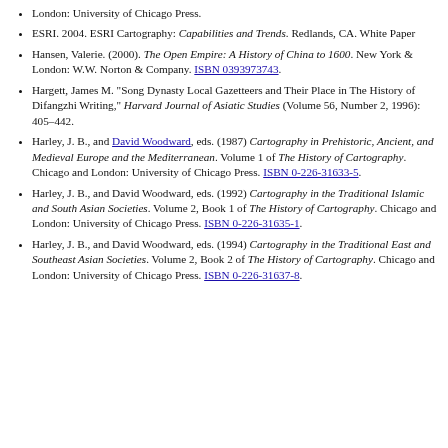London: University of Chicago Press.
ESRI. 2004. ESRI Cartography: Capabilities and Trends. Redlands, CA. White Paper
Hansen, Valerie. (2000). The Open Empire: A History of China to 1600. New York & London: W.W. Norton & Company. ISBN 0393973743.
Hargett, James M. "Song Dynasty Local Gazetteers and Their Place in The History of Difangzhi Writing," Harvard Journal of Asiatic Studies (Volume 56, Number 2, 1996): 405–442.
Harley, J. B., and David Woodward, eds. (1987) Cartography in Prehistoric, Ancient, and Medieval Europe and the Mediterranean. Volume 1 of The History of Cartography. Chicago and London: University of Chicago Press. ISBN 0-226-31633-5.
Harley, J. B., and David Woodward, eds. (1992) Cartography in the Traditional Islamic and South Asian Societies. Volume 2, Book 1 of The History of Cartography. Chicago and London: University of Chicago Press. ISBN 0-226-31635-1.
Harley, J. B., and David Woodward, eds. (1994) Cartography in the Traditional East and Southeast Asian Societies. Volume 2, Book 2 of The History of Cartography. Chicago and London: University of Chicago Press. ISBN 0-226-31637-8.